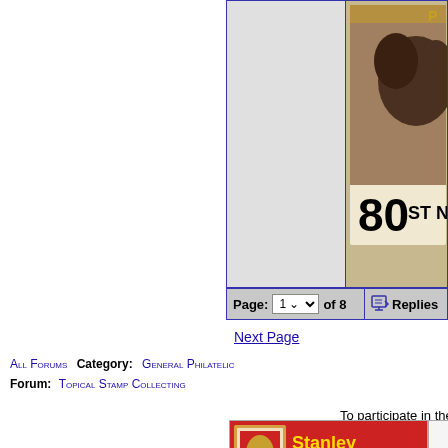[Figure (screenshot): Two-column table/forum layout. Left cell is grey/empty, right cell shows a postage stamp with a bear and text '80 ST NR' in gold/brown.]
| Page navigation | Replies |
| --- | --- |
| Page: 1 v of 8 | Replies |
Next Page
All Forums   Category: General Philatelic
Forum: Topical Stamp Collecting
To participate in the fo
[Figure (advertisement): Stanley Lisica ad: QEII British Commonwealth Mint NH sets, s.s., booklets. www.stanleylisica.com]
Your A